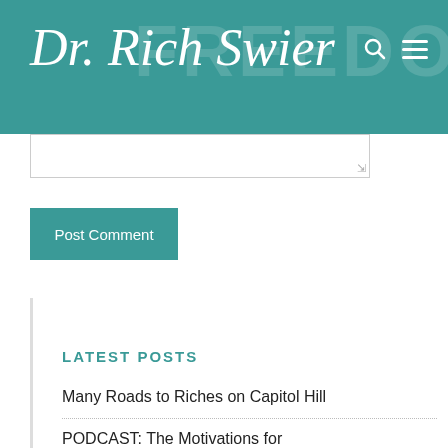Dr. Rich Swier
[Figure (screenshot): Text input area / textarea with resize handle]
Post Comment
LATEST POSTS
Many Roads to Riches on Capitol Hill
PODCAST: The Motivations for Activism
Governor Ron DeSantis' 'TOP GOV' Ad